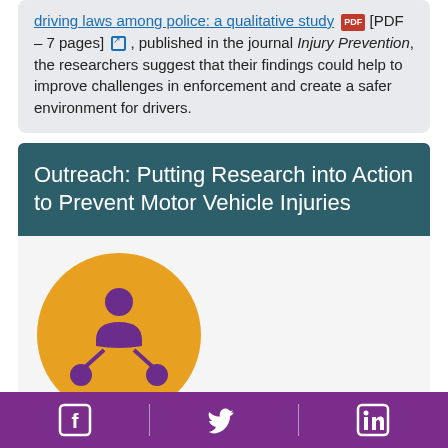driving laws among police: a qualitative study [PDF – 7 pages], published in the journal Injury Prevention, the researchers suggest that their findings could help to improve challenges in enforcement and create a safer environment for drivers.
Outreach: Putting Research into Action to Prevent Motor Vehicle Injuries
[Figure (illustration): Orange circle with a hierarchical network of three person icons in purple — one person at the top connected to two below, representing an organizational or community outreach icon.]
Facebook | Twitter | LinkedIn social media icons